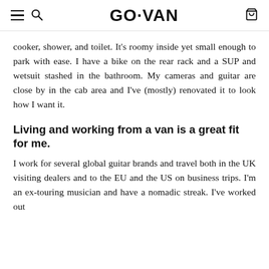GO·VAN
cooker, shower, and toilet. It's roomy inside yet small enough to park with ease. I have a bike on the rear rack and a SUP and wetsuit stashed in the bathroom. My cameras and guitar are close by in the cab area and I've (mostly) renovated it to look how I want it.
Living and working from a van is a great fit for me.
I work for several global guitar brands and travel both in the UK visiting dealers and to the EU and the US on business trips. I'm an ex-touring musician and have a nomadic streak. I've worked out